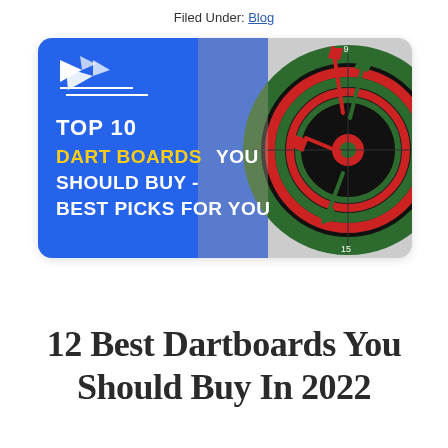Filed Under: Blog
[Figure (photo): Promotional banner image with blue background on the left showing text 'TOP 10 DART BOARDS YOU SHOULD BUY - BEST PICKS FOR YOU' with DART BOARDS in yellow bold, and on the right a close-up photo of a dartboard with red and green darts stuck in it.]
12 Best Dartboards You Should Buy In 2022